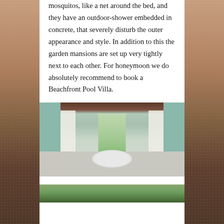mosquitos, like a net around the bed, and they have an outdoor-shower embedded in concrete, that severely disturb the outer appearance and style. In addition to this the garden mansions are set up very tightly next to each other. For honeymoon we do absolutely recommend to book a Beachfront Pool Villa.
[Figure (photo): Interior of a luxury villa bathroom with teal/green walls, wooden ceiling, freestanding oval white bathtub in the center, white floor-length curtains on either side of a large glass door opening to a garden view.]
[Figure (photo): Partial view of an outdoor garden or landscape area, showing green vegetation.]